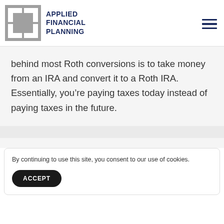APPLIED FINANCIAL PLANNING
behind most Roth conversions is to take money from an IRA and convert it to a Roth IRA. Essentially, you’re paying taxes today instead of paying taxes in the future.
By continuing to use this site, you consent to our use of cookies.